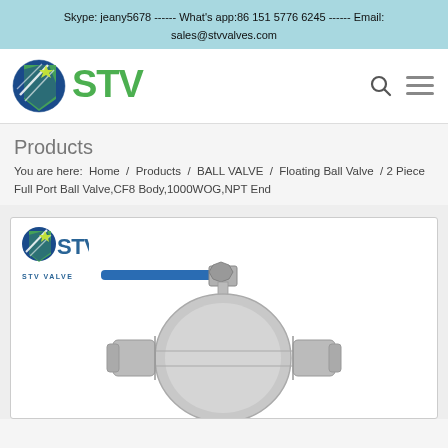Skype: jeany5678 ------ What's app:86 151 5776 6245 ------ Email: sales@stvvalves.com
[Figure (logo): STV Valves company logo with stylized globe and STV text in green]
Products
You are here: Home / Products / BALL VALVE / Floating Ball Valve / 2 Piece Full Port Ball Valve,CF8 Body,1000WOG,NPT End
[Figure (photo): 2 Piece Full Port Ball Valve with CF8 stainless steel body, 1000WOG, NPT End, with blue lever handle. STV VALVE logo shown in top left of product image box.]